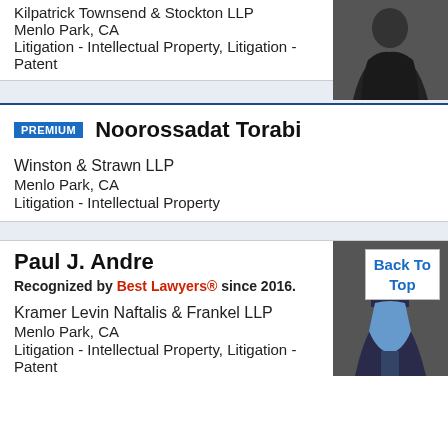Kilpatrick Townsend & Stockton LLP
Menlo Park, CA
Litigation - Intellectual Property, Litigation - Patent
[Figure (photo): Photo of attorney in dark jacket, arms crossed]
PREMIUM  Noorossadat Torabi
Winston & Strawn LLP
Menlo Park, CA
Litigation - Intellectual Property
Paul J. Andre
Recognized by Best Lawyers® since 2016.
Kramer Levin Naftalis & Frankel LLP
Menlo Park, CA
Litigation - Intellectual Property, Litigation - Patent
[Figure (photo): Photo of attorney in suit and tie, Back To Top button overlay]
Back To Top